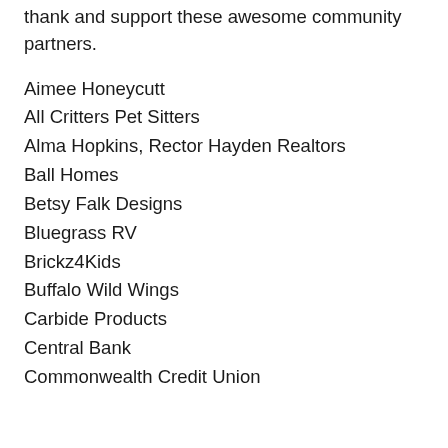thank and support these awesome community partners.
Aimee Honeycutt
All Critters Pet Sitters
Alma Hopkins, Rector Hayden Realtors
Ball Homes
Betsy Falk Designs
Bluegrass RV
Brickz4Kids
Buffalo Wild Wings
Carbide Products
Central Bank
Commonwealth Credit Union